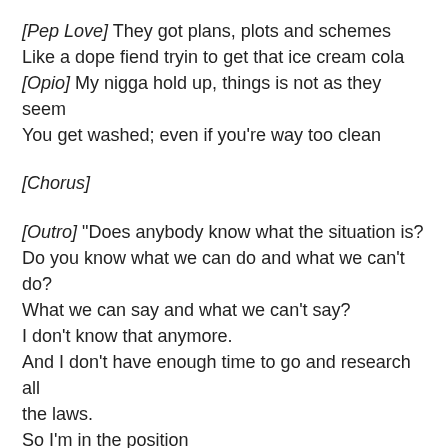[Pep Love]
They got plans, plots and schemes
Like a dope fiend tryin to get that ice cream cola
[Opio]
My nigga hold up, things is not as they seem
You get washed; even if you're way too clean
[Chorus]
[Outro]
"Does anybody know what the situation is?
Do you know what we can do and what we can't do?
What we can say and what we can't say?
I don't know that anymore.
And I don't have enough time to go and research all the laws.
So I'm in the position
that the only thing I can say about that is FUCKIT."